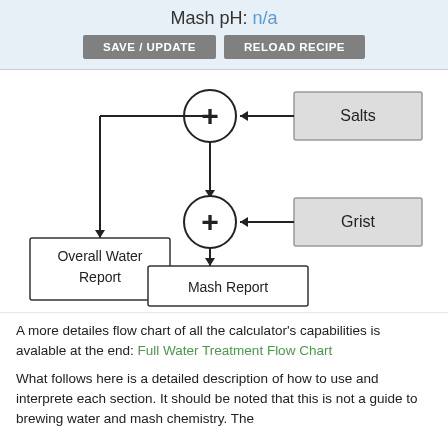Mash pH: n/a
[Figure (flowchart): Flowchart showing two summation nodes (+). The top node receives an arrow from a 'Salts' box on the right. The top node outputs down to a second summation node, which also receives an arrow from a 'Grist' box on the right. The top node also outputs left/down to an 'Overall Water Report' box. The second node outputs down to a 'Mash Report' box.]
A more detailes flow chart of all the calculator's capabilities is avalable at the end: Full Water Treatment Flow Chart
What follows here is a detailed description of how to use and interprete each section. It should be noted that this is not a guide to brewing water and mash chemistry. The